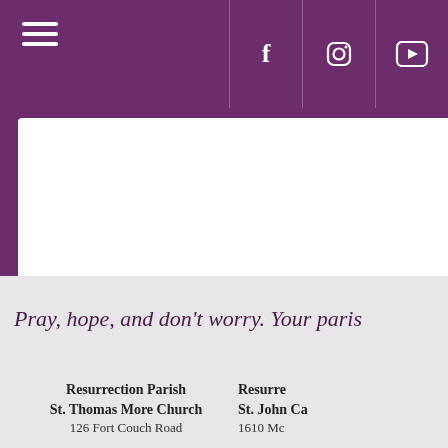[Figure (screenshot): Purple website header bar with hamburger menu icon on the left and social media icons (Facebook, Instagram, YouTube) on the right separated by vertical dividers. Below the header is a white content card area against a purple background.]
Pray, hope, and don't worry. Your paris
Resurrection Parish
St. Thomas More Church
126 Fort Couch Road
Resurrec
St. John Ca
1610 Mc